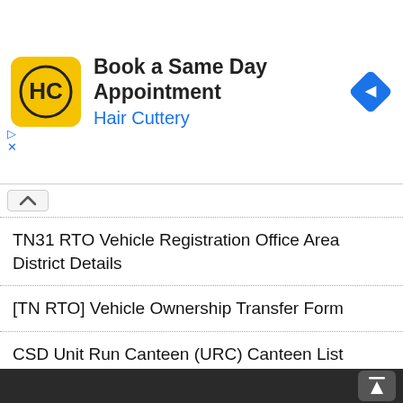[Figure (screenshot): Hair Cuttery advertisement banner with logo, headline 'Book a Same Day Appointment', subtext 'Hair Cuttery', and a blue direction arrow icon]
TN31 RTO Vehicle Registration Office Area District Details
[TN RTO] Vehicle Ownership Transfer Form
CSD Unit Run Canteen (URC) Canteen List
[TN RTO] Vehicle Fitness Certificate PDF Download
TN20 RTO Vehicle Registration Office Area District Details